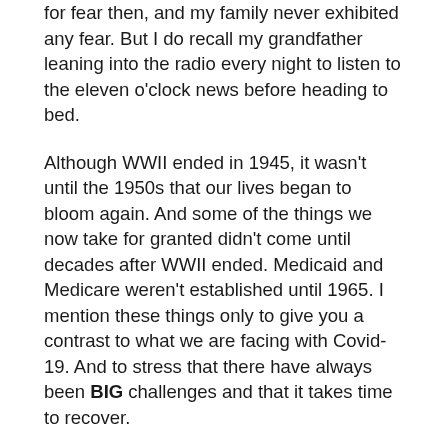for fear then, and my family never exhibited any fear. But I do recall my grandfather leaning into the radio every night to listen to the eleven o'clock news before heading to bed.
Although WWII ended in 1945, it wasn't until the 1950s that our lives began to bloom again. And some of the things we now take for granted didn't come until decades after WWII ended. Medicaid and Medicare weren't established until 1965. I mention these things only to give you a contrast to what we are facing with Covid-19. And to stress that there have always been BIG challenges and that it takes time to recover.
We've come a long way from those